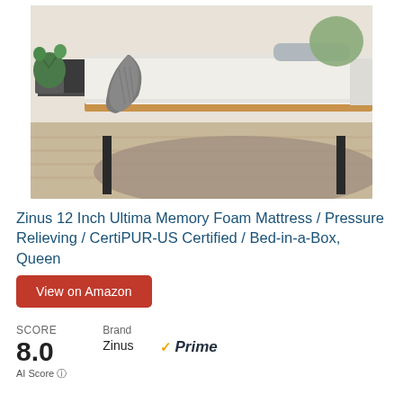[Figure (photo): Photo of a Zinus memory foam mattress on a bed frame with wooden slats and black metal legs, gray knit throw blanket draped over the side, displayed in a bedroom setting with plants and decorative pillow]
Zinus 12 Inch Ultima Memory Foam Mattress / Pressure Relieving / CertiPUR-US Certified / Bed-in-a-Box, Queen
View on Amazon
SCORE
8.0 AI Score
Brand
Zinus
[Figure (logo): Amazon Prime logo with orange checkmark]